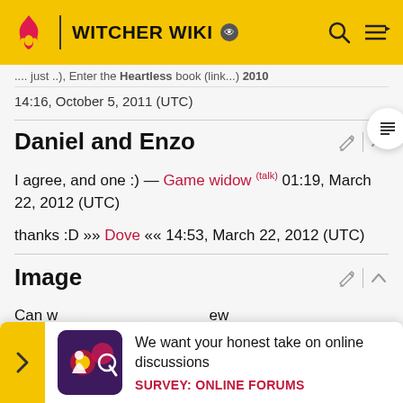WITCHER WIKI
14:16, October 5, 2011 (UTC)
Daniel and Enzo
I agree, and one :) — Game widow (talk) 01:19, March 22, 2012 (UTC)
thanks :D »» Dove ««  14:53, March 22, 2012 (UTC)
Image
Can w... new pictu...
[Figure (infographic): Survey banner: illustration of person with magnifying glass on dark purple background. Text: We want your honest take on online discussions. SURVEY: ONLINE FORUMS]